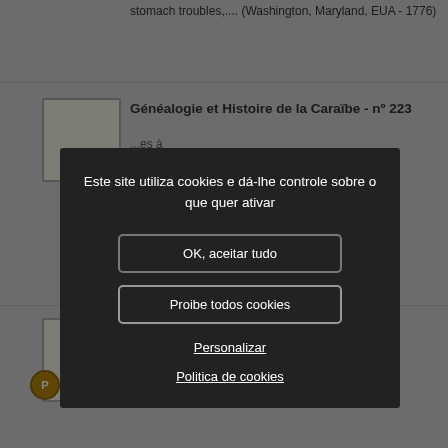stomach troubles,.... (Washington, Maryland, EUA - 1776)
Généalogie et Histoire de la Caraïbe - nº 223
...es à ...ils
...doc ...el de ...De ce
...3, ...1739), stockbroker, of Mitcham, Surrey, and grandson of Fernando Mendes, M.D.... (Mitcham, País Indeterminado - 1739)
[Figure (screenshot): Cookie consent modal dialog in Portuguese over a genealogy website. Modal has dark background with text 'Este site utiliza cookies e dá-lhe controle sobre o que quer ativar' and three options: 'OK, aceitar tudo' button, 'Proibe todos cookies' button, 'Personalizar' link, and 'Politica de cookies' link.]